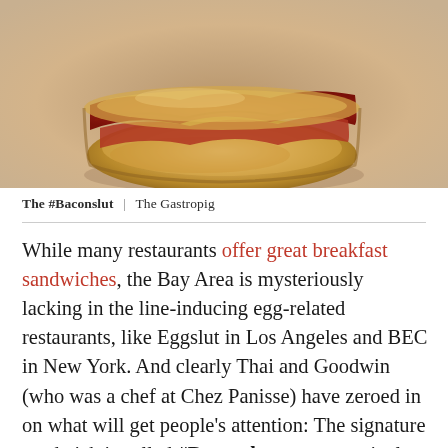[Figure (photo): Close-up photo of a breakfast sandwich (the #Baconslut) on a brioche roll with bacon visible, on a light grey background]
The #Baconslut  |  The Gastropig
While many restaurants offer great breakfast sandwiches, the Bay Area is mysteriously lacking in the line-inducing egg-related restaurants, like Eggslut in Los Angeles and BEC in New York. And clearly Thai and Goodwin (who was a chef at Chez Panisse) have zeroed in on what will get people's attention: The signature sandwich is called #Baconslut, a provocatively named sandwich featuring applewood smoked bacon with an over easy egg, cheddar, and Aleppo chili aioli on a brioche roll. And as promised, the menu is awash in breakfast sandwiches, with four hot options and two grab-